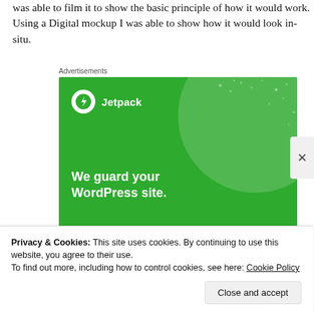was able to film it to show the basic principle of how it would work. Using a Digital mockup I was able to show how it would look in-situ.
Advertisements
[Figure (screenshot): Jetpack advertisement banner with green background. Shows Jetpack logo (white circle with lightning bolt) and brand name. Large text reads: 'We guard your WordPress site. You run your business.']
Privacy & Cookies: This site uses cookies. By continuing to use this website, you agree to their use.
To find out more, including how to control cookies, see here: Cookie Policy
Close and accept